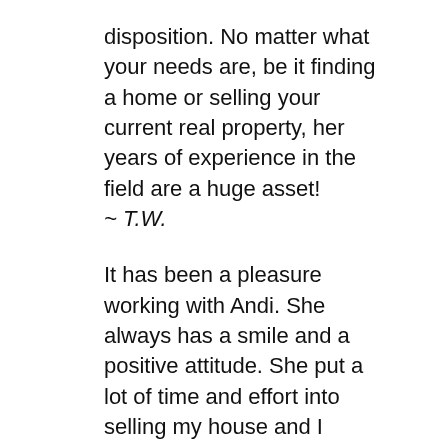disposition. No matter what your needs are, be it finding a home or selling your current real property, her years of experience in the field are a huge asset!
~ T.W.
It has been a pleasure working with Andi. She always has a smile and a positive attitude. She put a lot of time and effort into selling my house and I couldn't have happier with anyone else.
~J.M.
Selling a house is STRESSFUL. There are so many things to do and so many cracks to slip into. Thanks to Andi, there were no cracks with her timely checklists; she showed me that selling doesn't have to be so stressful. A good selling experience is possible! She is the broker to keep in your back pocket.